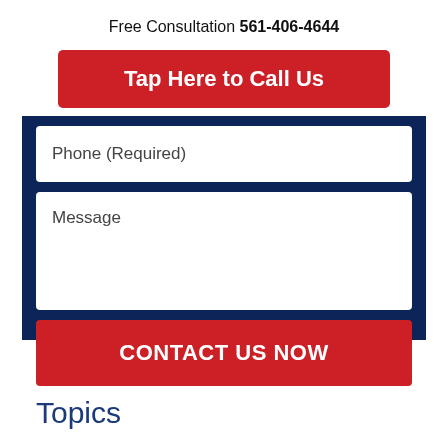Free Consultation 561-406-4644
Tap Here to Call Us
Phone (Required)
Message
CONTACT US NOW
Topics